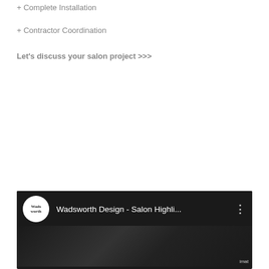+ Complete Installation
+ Contractor Coordination
Let's discuss your salon project  >>>
[Figure (screenshot): YouTube video thumbnail for 'Wadsworth Design - Salon Highli...' with Wadsworth channel logo (circular white logo with text) and dark background with a three-dot menu icon. Bottom portion shows a dark video preview frame with 'imat' watermark.]